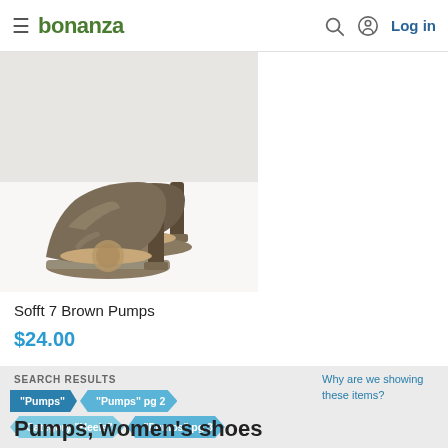bonanza — Log in
[Figure (photo): A pair of brown patent leather women's high heel pumps (Sofft brand) photographed on a white background, showing two shoes angled diagonally.]
Sofft 7 Brown Pumps
$24.00
SEARCH RESULTS
"Pumps"
"Pumps" pg 2
Category "Heels"
"Pumps" pg 3
Why are we showing these items?
Pumps, women's shoes